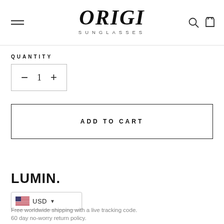ORIGI SUNGLASSES
QUANTITY
- 1 +
ADD TO CART
LUMIN.
USD
Free worldwide shipping with a live tracking code.
60 day no-worry return policy.